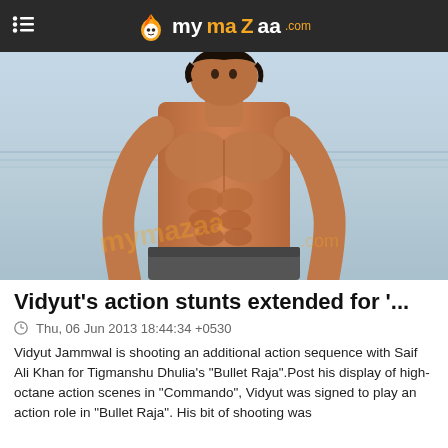mymazaa.com
[Figure (photo): Muscular shirtless male actor (Vidyut Jammwal) posing with ocean background, watermark visible]
Vidyut's action stunts extended for '...
Thu, 06 Jun 2013 18:44:34 +0530
Vidyut Jammwal is shooting an additional action sequence with Saif Ali Khan for Tigmanshu Dhulia's "Bullet Raja".Post his display of high-octane action scenes in "Commando", Vidyut was signed to play an action role in "Bullet Raja". His bit of shooting was